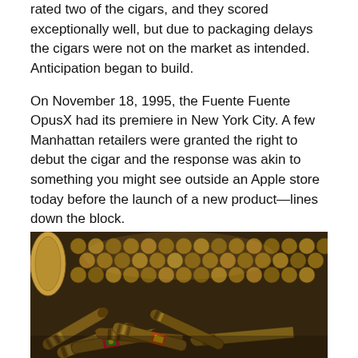rated two of the cigars, and they scored exceptionally well, but due to packaging delays the cigars were not on the market as intended. Anticipation began to build.
On November 18, 1995, the Fuente Fuente OpusX had its premiere in New York City. A few Manhattan retailers were granted the right to debut the cigar and the response was akin to something you might see outside an Apple store today before the launch of a new product—lines down the block.
[Figure (photo): A large pile of premium cigars displayed in a shop or humidor setting, many with decorative bands and varied shapes including torpedo and rounded cap styles, in warm brown tones.]